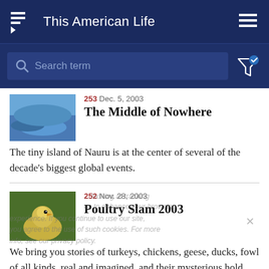This American Life
Search term
The Middle of Nowhere
253 Dec. 5, 2003
The tiny island of Nauru is at the center of several of the decade's biggest global events.
Poultry Slam 2003
252 Nov. 28, 2003
We bring you stories of turkeys, chickens, geese, ducks, fowl of all kinds, real and imagined, and their mysterious hold over us.